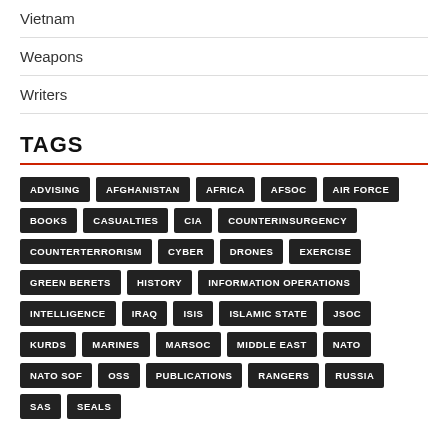Vietnam
Weapons
Writers
TAGS
ADVISING AFGHANISTAN AFRICA AFSOC AIR FORCE BOOKS CASUALTIES CIA COUNTERINSURGENCY COUNTERTERRORISM CYBER DRONES EXERCISE GREEN BERETS HISTORY INFORMATION OPERATIONS INTELLIGENCE IRAQ ISIS ISLAMIC STATE JSOC KURDS MARINES MARSOC MIDDLE EAST NATO NATO SOF OSS PUBLICATIONS RANGERS RUSSIA SAS SEALS